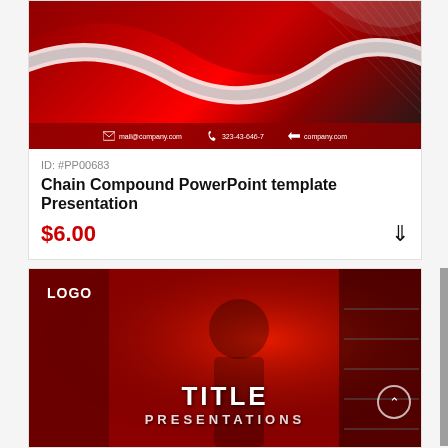[Figure (screenshot): Preview of Chain Compound PowerPoint template with red and black wave design, contact bar at bottom showing mail@company.com, 323-43-646-7, company.com]
ID: #PP00683
Chain Compound PowerPoint template Presentation
$6.00
[Figure (screenshot): Preview of a second PowerPoint presentation template with red background, worker in protective gear, LOGO text top left, TITLE PRESENTATIONS overlay]